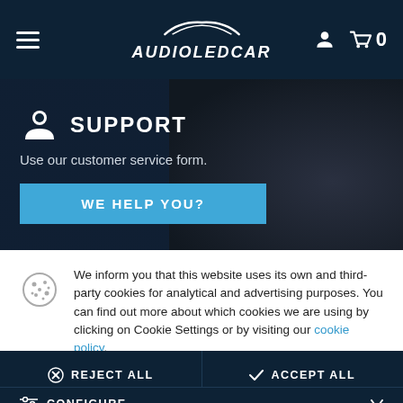[Figure (screenshot): Website header with hamburger menu, AUDIOLEDCAR logo with car silhouette, user icon, and shopping cart showing 0]
[Figure (screenshot): Support banner section with agent icon, SUPPORT heading, 'Use our customer service form.' text, and 'WE HELP YOU?' button]
We inform you that this website uses its own and third-party cookies for analytical and advertising purposes. You can find out more about which cookies we are using by clicking on Cookie Settings or by visiting our cookie policy.
REJECT ALL
ACCEPT ALL
CONFIGURE